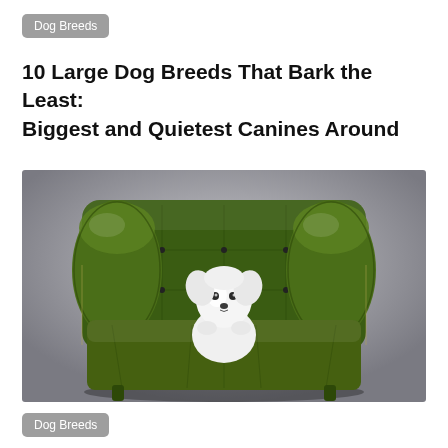Dog Breeds
10 Large Dog Breeds That Bark the Least: Biggest and Quietest Canines Around
[Figure (photo): A small white fluffy dog sitting in a large green tufted leather armchair against a grey studio background.]
Dog Breeds